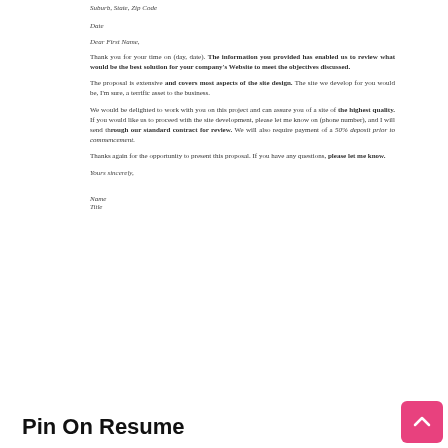Suburb, State, Zip Code
Date
Dear First Name,
Thank you for your time on (day, date).  The information you provided has enabled us to review what would be the best solution for your company's Website to meet the objectives discussed.
The proposal is extensive and covers most aspects of the site design.  The site we develop for you would be, I'm sure, a terrific asset to the business.
We would be delighted to work with you on this project and can assure you of a site of the highest quality.  If you would like us to proceed with the site development, please let me know on (phone number), and I will send through our standard contract for review.  We will also require payment of a 50% deposit prior to commencement.
Thanks again for the opportunity to present this proposal.  If you have any questions, please let me know.
Yours sincerely,
Name
Title
Pin On Resume